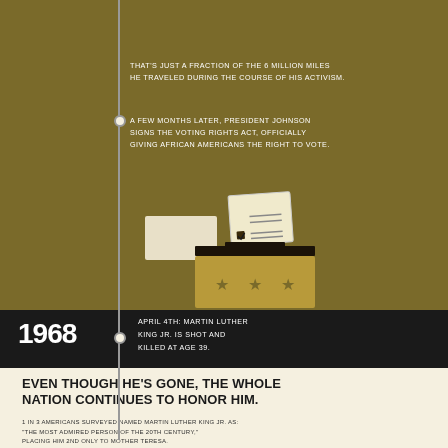THAT'S JUST A FRACTION OF THE 6 MILLION MILES HE TRAVELED DURING THE COURSE OF HIS ACTIVISM.
A FEW MONTHS LATER, PRESIDENT JOHNSON SIGNS THE VOTING RIGHTS ACT, OFFICIALLY GIVING AFRICAN AMERICANS THE RIGHT TO VOTE.
[Figure (illustration): Illustration of a ballot box with a voting card being inserted, decorated with three stars]
1968
APRIL 4TH: MARTIN LUTHER KING JR. IS SHOT AND KILLED AT AGE 39.
EVEN THOUGH HE'S GONE, THE WHOLE NATION CONTINUES TO HONOR HIM.
1 IN 3 AMERICANS SURVEYED NAMED MARTIN LUTHER KING JR. AS: "THE MOST ADMIRED PERSON OF THE 20TH CENTURY," PLACING HIM 2ND ONLY TO MOTHER TERESA.